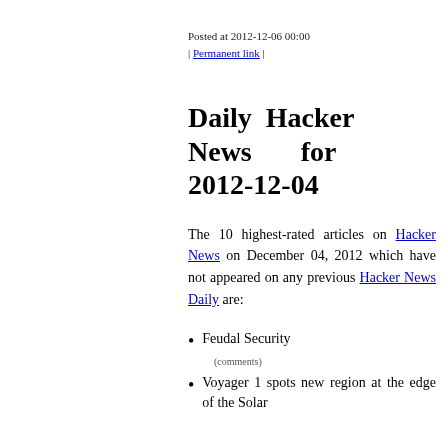Posted at 2012-12-06 00:00 | Permanent link |
Daily Hacker News for 2012-12-04
The 10 highest-rated articles on Hacker News on December 04, 2012 which have not appeared on any previous Hacker News Daily are:
Feudal Security
(comments)
Voyager 1 spots new region at the edge of the Solar